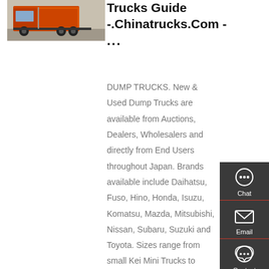[Figure (photo): Photograph of a dump truck (orange and black) parked on pavement, viewed from rear-side angle.]
Trucks Guide -.Chinatrucks.Com - ...
DUMP TRUCKS. New & Used Dump Trucks are available from Auctions, Dealers, Wholesalers and directly from End Users throughout Japan. Brands available include Daihatsu, Fuso, Hino, Honda, Isuzu, Komatsu, Mazda, Mitsubishi, Nissan, Subaru, Suzuki and Toyota. Sizes range from small Kei Mini Trucks to Large Dump Trucks suitable for mining, quarrying